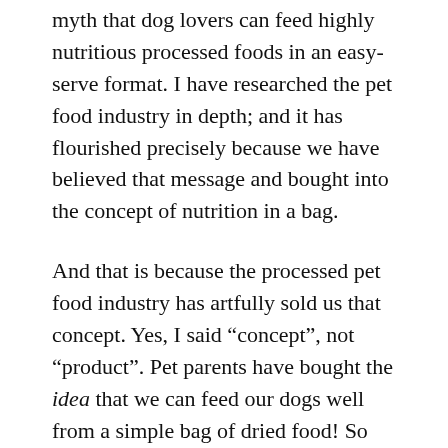myth that dog lovers can feed highly nutritious processed foods in an easy-serve format. I have researched the pet food industry in depth; and it has flourished precisely because we have believed that message and bought into the concept of nutrition in a bag.
And that is because the processed pet food industry has artfully sold us that concept. Yes, I said “concept”, not “product”. Pet parents have bought the idea that we can feed our dogs well from a simple bag of dried food! So easy! Just rip open the bag and pour! Everything we need to nourish our dogs is contained within! But when you learn how this food is designed and produced, you will likely want to avoid it.